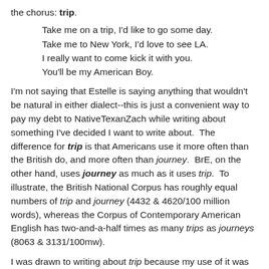the chorus: trip.
Take me on a trip, I'd like to go some day.
Take me to New York, I'd love to see LA.
I really want to come kick it with you.
You'll be my American Boy.
I'm not saying that Estelle is saying anything that wouldn't be natural in either dialect--this is just a convenient way to pay my debt to NativeTexanZach while writing about something I've decided I want to write about.  The difference for trip is that Americans use it more often than the British do, and more often than journey.  BrE, on the other hand, uses journey as much as it uses trip.  To illustrate, the British National Corpus has roughly equal numbers of trip and journey (4432 & 4620/100 million words), whereas the Corpus of Contemporary American English has two-and-a-half times as many trips as journeys (8063 & 3131/100mw).
I was drawn to writing about trip because my use of it was commented upon by an Englishperson who will remain anonymous only because I can't remember who he/she/it was.  That person claimed that BrE trip in the original sense...